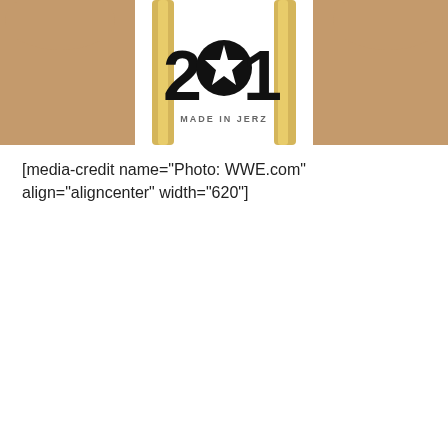[Figure (photo): A person with long blonde hair wearing a white t-shirt that reads '201 MADE IN JERZ' with a star logo, arms raised behind head, cropped view showing torso.]
[media-credit name="Photo: WWE.com" align="aligncenter" width="620"]